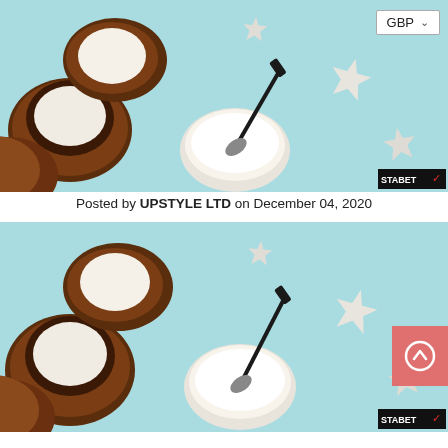[Figure (photo): Coconut halves, starfish, a makeup brush, and white cream in a bowl on a light blue background. STABET logo in bottom right corner. GBP currency selector in top right.]
Posted by UPSTYLE LTD on December 04, 2020
[Figure (photo): Same coconut halves, starfish, makeup brush and cream scene on light blue background. Title 'Top Benefits of Using Hair Mask After Shampoo 2020' overlaid. STABET logo bottom right. Pink scroll-to-top button bottom right.]
Top Benefits of Using Hair Mask After Shampoo 2020